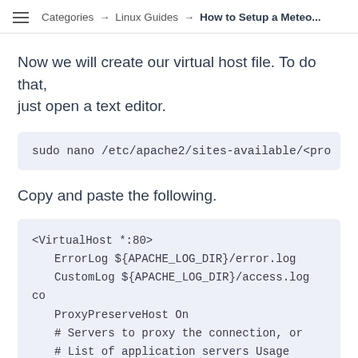Categories → Linux Guides → How to Setup a Meteo...
Now we will create our virtual host file. To do that, just open a text editor.
sudo nano /etc/apache2/sites-available/<pro
Copy and paste the following.
<VirtualHost *:80>
    ErrorLog ${APACHE_LOG_DIR}/error.log
    CustomLog ${APACHE_LOG_DIR}/access.log co
    ProxyPreserveHost On
    # Servers to proxy the connection, or
    # List of application servers Usage